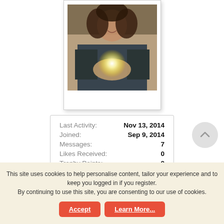[Figure (photo): Polaroid-style framed photo of a young woman with curly hair holding a sparkler, shown from chest up with a blurred background.]
| Last Activity: | Nov 13, 2014 |
| Joined: | Sep 9, 2014 |
| Messages: | 7 |
| Likes Received: | 0 |
| Trophy Points: | 0 |
This site uses cookies to help personalise content, tailor your experience and to keep you logged in if you register.
By continuing to use this site, you are consenting to our use of cookies.
Accept   Learn More...